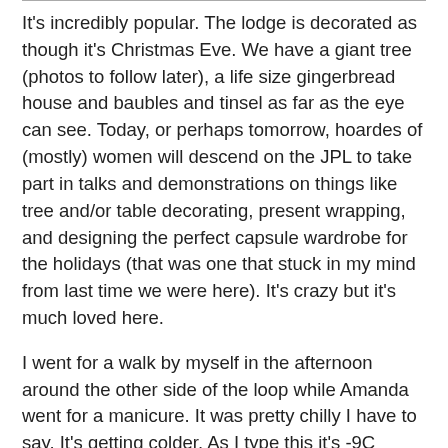It's incredibly popular. The lodge is decorated as though it's Christmas Eve. We have a giant tree (photos to follow later), a life size gingerbread house and baubles and tinsel as far as the eye can see. Today, or perhaps tomorrow, hoardes of (mostly) women will descend on the JPL to take part in talks and demonstrations on things like tree and/or table decorating, present wrapping, and designing the perfect capsule wardrobe for the holidays (that was one that stuck in my mind from last time we were here). It's crazy but it's much loved here.
I went for a walk by myself in the afternoon around the other side of the loop while Amanda went for a manicure. It was pretty chilly I have to say. It's getting colder. As I type this it's -9C outside so I may have to put a long sleeved top on today. I saw those mule deer again, I think